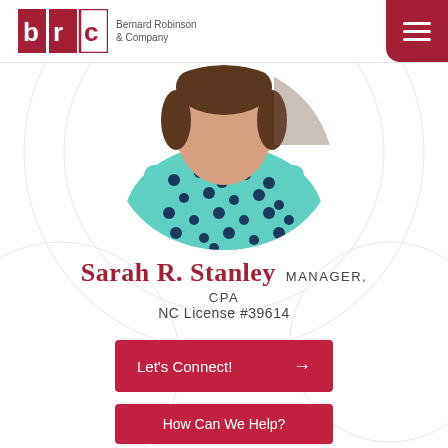Bernard Robinson & Company
[Figure (photo): Circular cropped profile photo of Sarah R. Stanley wearing a teal/turquoise patterned blouse with dark polka dots]
Sarah R. Stanley MANAGER, CPA
NC License #39614
Let's Connect! →
How Can We Help?